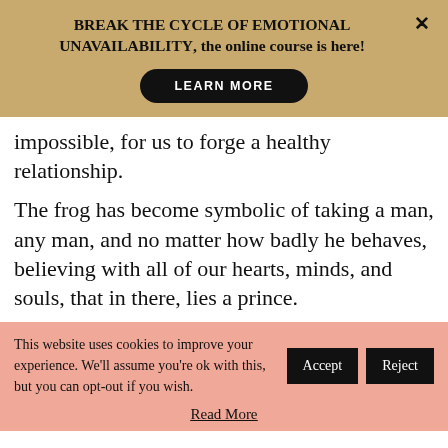BREAK THE CYCLE OF EMOTIONAL UNAVAILABILITY, the online course is here!
impossible, for us to forge a healthy relationship.
The frog has become symbolic of taking a man, any man, and no matter how badly he behaves, believing with all of our hearts, minds, and souls, that in there, lies a prince.
This website uses cookies to improve your experience. We'll assume you're ok with this, but you can opt-out if you wish.
Read More